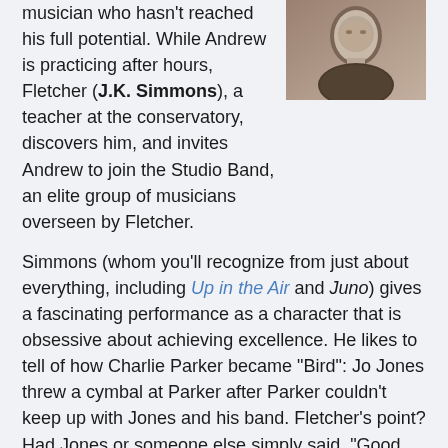musician who hasn't reached his full potential. While Andrew is practicing after hours, Fletcher (J.K. Simmons), a teacher at the conservatory, discovers him, and invites Andrew to join the Studio Band, an elite group of musicians overseen by Fletcher.
[Figure (photo): Sepia-toned close-up portrait photo of a man (J.K. Simmons) with a shaved head, looking slightly to the side.]
Simmons (whom you'll recognize from just about everything, including Up in the Air and Juno) gives a fascinating performance as a character that is obsessive about achieving excellence. He likes to tell of how Charlie Parker became "Bird": Jo Jones threw a cymbal at Parker after Parker couldn't keep up with Jones and his band. Fletcher's point? Had Jones or someone else simply said, "Good job," Parker would have gone home, satisfied, and not tried to be better. He never would have become Bird. Picking up on that lesson, Fletcher, though he has moments of humanity, is relentless in his